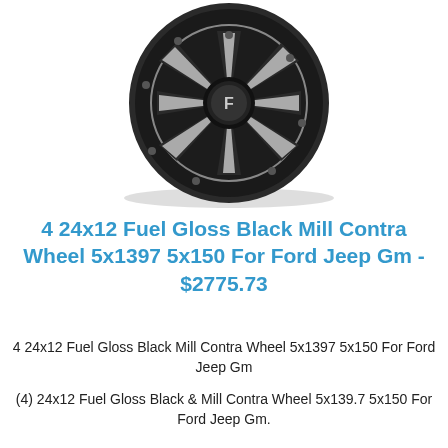[Figure (photo): A black and milled alloy wheel (Fuel Gloss Black Mill Contra Wheel) shown at a slight angle on a white background. The wheel has 8 spoke design with silver milled accents and a center Fuel logo cap.]
4 24x12 Fuel Gloss Black Mill Contra Wheel 5x1397 5x150 For Ford Jeep Gm - $2775.73
4 24x12 Fuel Gloss Black Mill Contra Wheel 5x1397 5x150 For Ford Jeep Gm
(4) 24x12 Fuel Gloss Black & Mill Contra Wheel 5x139.7 5x150 For Ford Jeep Gm.